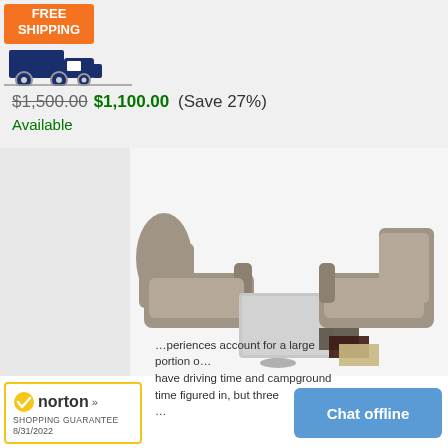[Figure (logo): Free Shipping badge with orange background text and dark blue delivery truck icon]
$1,500.00 $1,100.00 (Save 27%)
Available
[Figure (photo): Charles Dinette Booth with Storage - two grey upholstered booth seats with a table on a pedestal, color swatches shown in corner (grey, dark brown, tan)]
Charles Dinette Booth with Storage Converts to Bed (Multiple Sizes)(Multiple Colors)(350 Lbs Weight Capacity)
[Figure (logo): Norton Shopping Guarantee badge with checkmark and date 8/31/2022]
Chat offline
...periences account for a large portion of... have driving time and campground time figured in, but three ...